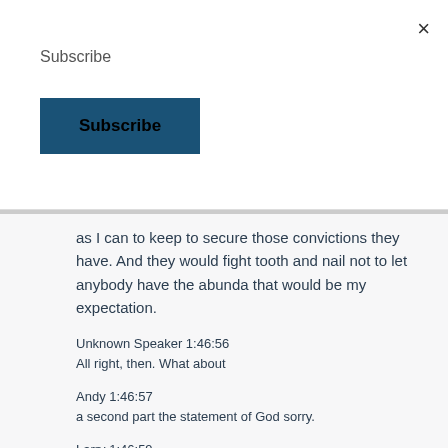×
Subscribe
Subscribe
as I can to keep to secure those convictions they have. And they would fight tooth and nail not to let anybody have the abunda that would be my expectation.
Unknown Speaker 1:46:56
All right, then. What about
Andy 1:46:57
a second part the statement of God sorry.
Larry 1:46:59
Yeah. It'll be it'll be on the podcast and on the on the dorsal action. And we'll ask that to the attorney.